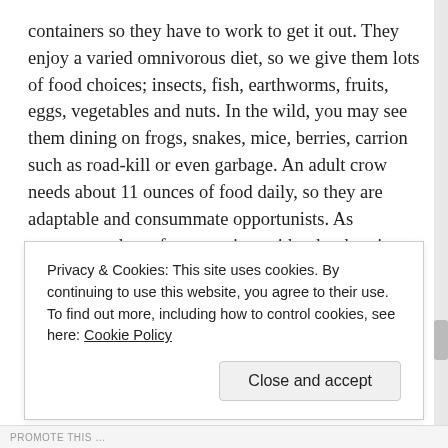containers so they have to work to get it out. They enjoy a varied omnivorous diet, so we give them lots of food choices; insects, fish, earthworms, fruits, eggs, vegetables and nuts. In the wild, you may see them dining on frogs, snakes, mice, berries, carrion such as road-kill or even garbage. An adult crow needs about 11 ounces of food daily, so they are adaptable and consummate opportunists. As scavengers they often associate with other hunting animals to take advantage of unguarded or abandoned prey carcasses. When you think about it, humans are some of those hunting animals who exploit the environment and tend to leave waste behind, so it’s only natural to find crows wherever you find people. In the way of description, there’s not much to tell that you don’t already know. They are black, all
Privacy & Cookies: This site uses cookies. By continuing to use this website, you agree to their use.
To find out more, including how to control cookies, see here: Cookie Policy